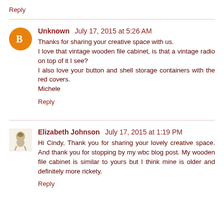Reply
Unknown July 17, 2015 at 5:26 AM
Thanks for sharing your creative space with us.
I love that vintage wooden file cabinet, is that a vintage radio on top of it I see?
I also love your button and shell storage containers with the red covers.
Michele
Reply
Elizabeth Johnson July 17, 2015 at 1:19 PM
Hi Cindy, Thank you for sharing your lovely creative space. And thank you for stopping by my wbc blog post. My wooden file cabinet is similar to yours but I think mine is older and definitely more rickety.
Reply